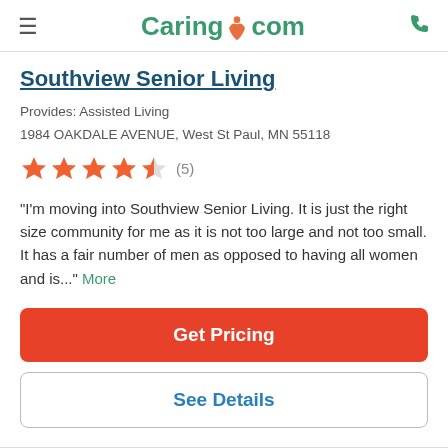Caring.com
Southview Senior Living
Provides: Assisted Living
1984 OAKDALE AVENUE, West St Paul, MN 55118
★★★★½ (5)
"I'm moving into Southview Senior Living. It is just the right size community for me as it is not too large and not too small. It has a fair number of men as opposed to having all women and is..." More
Get Pricing
See Details